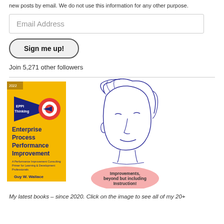new posts by email. We do not use this information for any other purpose.
Email Address
Sign me up!
Join 5,271 other followers
[Figure (illustration): Book cover for 'Enterprise Process Performance Improvement' by Guy W. Wallace (EPPI Thinking, 2022), with a yellow background, dark blue triangle, and red target/bullseye graphic. Next to it is a hand-drawn sketch of a person's face and a pink oval speech bubble saying 'Improvements, beyond but including Instruction!']
My latest books – since 2020. Click on the image to see all of my 20+